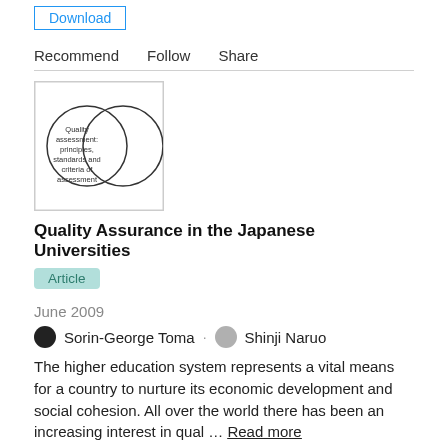Download (button, top, partially visible)
Recommend   Follow   Share
[Figure (illustration): Book cover thumbnail showing two overlapping circles with text: Quality assessment: principles, standards and criteria of assessment]
Quality Assurance in the Japanese Universities
Article
June 2009
Sorin-George Toma · Shinji Naruo
The higher education system represents a vital means for a country to nurture its economic development and social cohesion. All over the world there has been an increasing interest in qual … Read more
1,210 Reads · 4 Citations
Download (button)
Recommend   Follow   Share